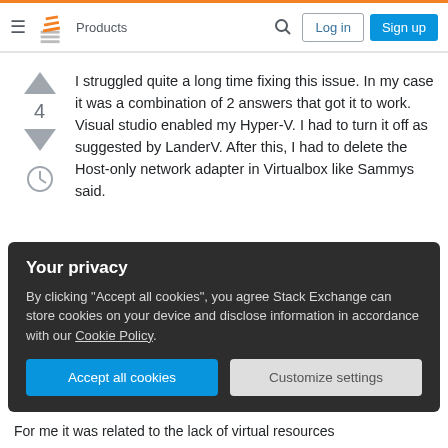≡  [Stack Overflow logo]  Products    🔍   Log in   Sign up
I struggled quite a long time fixing this issue. In my case it was a combination of 2 answers that got it to work. Visual studio enabled my Hyper-V. I had to turn it off as suggested by LanderV. After this, I had to delete the Host-only network adapter in Virtualbox like Sammys said.
Share
Improve this answer
Follow
answered Jan 18, 2015 at 21:19
M. Boeckx
242 ●1 ●5 ●18
Your privacy
By clicking "Accept all cookies", you agree Stack Exchange can store cookies on your device and disclose information in accordance with our Cookie Policy.
Accept all cookies   Customize settings
For me it was related to the lack of virtual resources